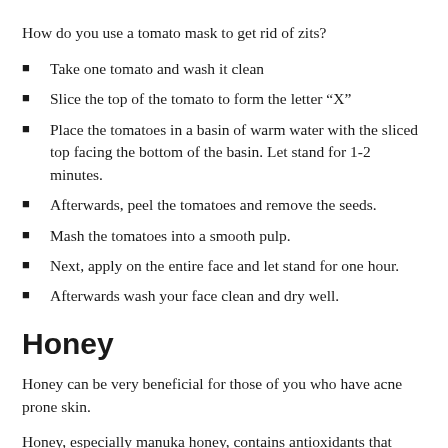How do you use a tomato mask to get rid of zits?
Take one tomato and wash it clean
Slice the top of the tomato to form the letter “X”
Place the tomatoes in a basin of warm water with the sliced top facing the bottom of the basin. Let stand for 1-2 minutes.
Afterwards, peel the tomatoes and remove the seeds.
Mash the tomatoes into a smooth pulp.
Next, apply on the entire face and let stand for one hour.
Afterwards wash your face clean and dry well.
Honey
Honey can be very beneficial for those of you who have acne prone skin.
Honey, especially manuka honey, contains antioxidants that